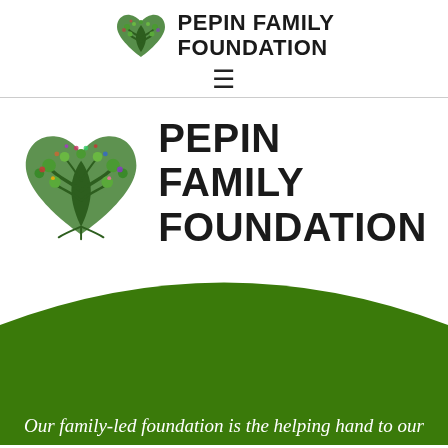PEPIN FAMILY FOUNDATION
[Figure (logo): Pepin Family Foundation logo in page header: green heart-shaped tree with text PEPIN FAMILY FOUNDATION]
[Figure (logo): Pepin Family Foundation large logo: green heart-shaped tree with colorful blossoms, text PEPIN FAMILY FOUNDATION in large bold serif/sans font]
Our family-led foundation is the helping hand to our